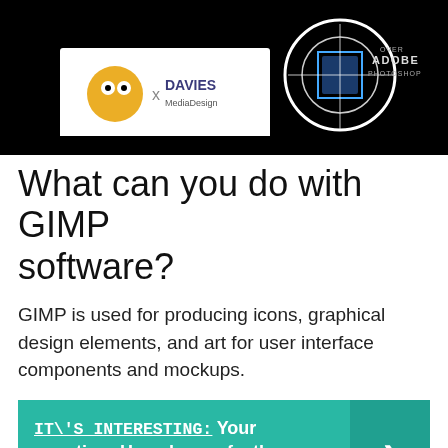[Figure (photo): Banner image showing GIMP and Davies Media Design logos on black background with Adobe Photoshop comparison text]
What can you do with GIMP software?
GIMP is used for producing icons, graphical design elements, and art for user interface components and mockups.
IT\'S INTERESTING:  Your question: How do you feather a smart object in Photoshop?
What are the advantages of GIMP layers?